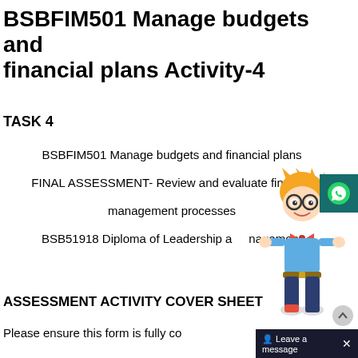BSBFIM501 Manage budgets and financial plans Activity-4
TASK 4
BSBFIM501 Manage budgets and financial plans
FINAL ASSESSMENT- Review and evaluate financial management processes
BSB51918 Diploma of Leadership and Management
ASSESSMENT ACTIVITY COVER SHEET
Please ensure this form is fully co...
[Figure (illustration): Cartoon mascot character - a boy with glasses, blond spiky hair, bow tie, and jeans, pointing gesture]
[Figure (other): WhatsApp contact button - teal square with WhatsApp icon]
[Figure (other): Leave a message chat bar at the bottom right]